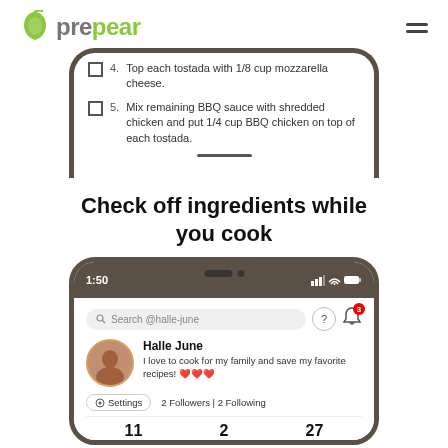prepear
[Figure (screenshot): Phone mockup showing recipe step list with checkboxes. Step 4: Top each tostada with 1/8 cup mozzarella cheese. Step 5: Mix remaining BBQ sauce with shredded chicken and put 1/4 cup BBQ chicken on top of each tostada.]
Check off ingredients while you cook
[Figure (screenshot): Phone mockup showing Prepear app profile screen for user Halle June. Search bar shows 'Search @halle-june'. Profile shows: 'I love to cook for my family and save my favorite recipes! hearts'. Settings button, 2 Followers, 2 Following. Status bar shows 1:50.]